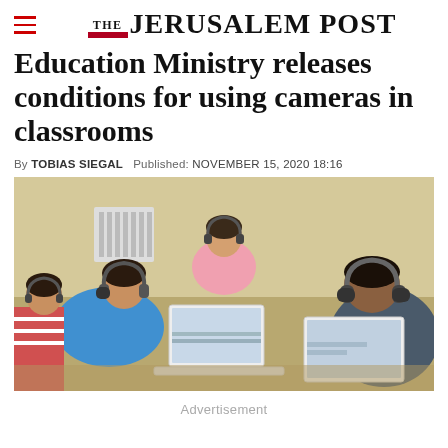THE JERUSALEM POST
Education Ministry releases conditions for using cameras in classrooms
By TOBIAS SIEGAL   Published: NOVEMBER 15, 2020 18:16
[Figure (photo): Children sitting at desks with laptops and headphones in a classroom setting]
Advertisement